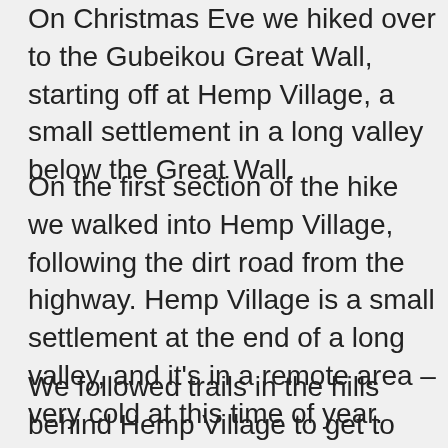On Christmas Eve we hiked over to the Gubeikou Great Wall, starting off at Hemp Village, a small settlement in a long valley below the Great Wall.
On the first section of the hike we walked into Hemp Village, following the dirt road from the highway. Hemp Village is a small settlement at the end of a long valley, and it’s in a remote area – very cold at this time of year.
We followed trails in the hills behind Hemp Village to get to the Great Wall, passing through fields and through valleys.
The trails took us up on to the Gubeikou Great